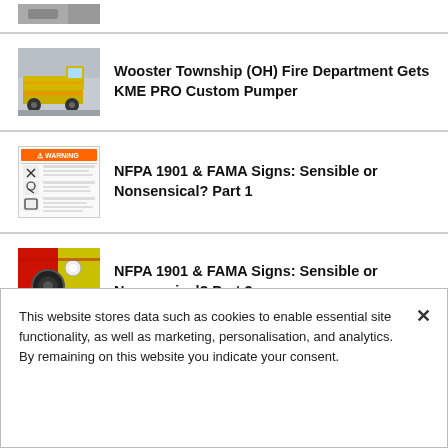[Figure (photo): Partial view of a vehicle or fire truck thumbnail (cropped at top)]
[Figure (photo): Yellow KME fire truck pumper on a road]
Wooster Township (OH) Fire Department Gets KME PRO Custom Pumper
[Figure (other): Warning sign label with NFPA safety pictograms]
NFPA 1901 & FAMA Signs: Sensible or Nonsensical? Part 1
[Figure (photo): Close-up of fire hose connector on yellow and red truck]
NFPA 1901 & FAMA Signs: Sensible or Nonsensical? Part 2
This website stores data such as cookies to enable essential site functionality, as well as marketing, personalisation, and analytics. By remaining on this website you indicate your consent.